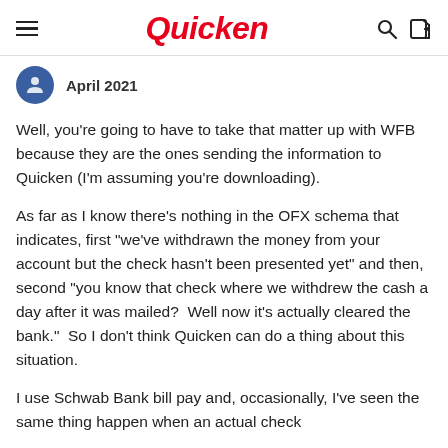Quicken
April 2021
Well, you're going to have to take that matter up with WFB because they are the ones sending the information to Quicken (I'm assuming you're downloading).
As far as I know there's nothing in the OFX schema that indicates, first "we've withdrawn the money from your account but the check hasn't been presented yet" and then, second "you know that check where we withdrew the cash a day after it was mailed?  Well now it's actually cleared the bank."  So I don't think Quicken can do a thing about this situation.
I use Schwab Bank bill pay and, occasionally, I've seen the same thing happen when an actual check